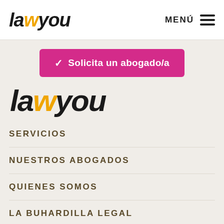[Figure (logo): Lawyou logo in header - bold italic text with orange W letter, followed by MENÚ and hamburger menu icon]
[Figure (logo): Pink/magenta button: checkmark Solicita un abogado/a]
[Figure (logo): Large Lawyou logo in content area - bold italic with orange W]
SERVICIOS
NUESTROS ABOGADOS
QUIENES SOMOS
LA BUHARDILLA LEGAL
ÁREA DE CLIENTE